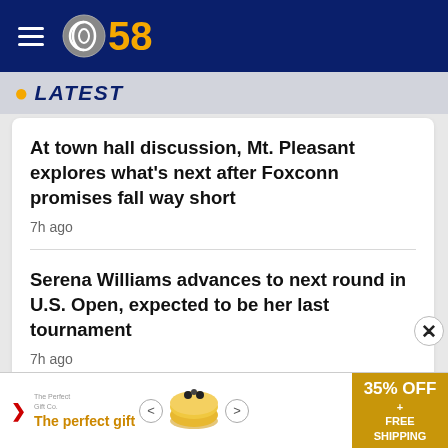CBS 58
LATEST
At town hall discussion, Mt. Pleasant explores what's next after Foxconn promises fall way short
7h ago
Serena Williams advances to next round in U.S. Open, expected to be her last tournament
7h ago
Waukesha community hears final proposals for permanent parade memorials
[Figure (screenshot): Advertisement banner for a gift product with bowl imagery, showing '35% OFF + FREE SHIPPING']